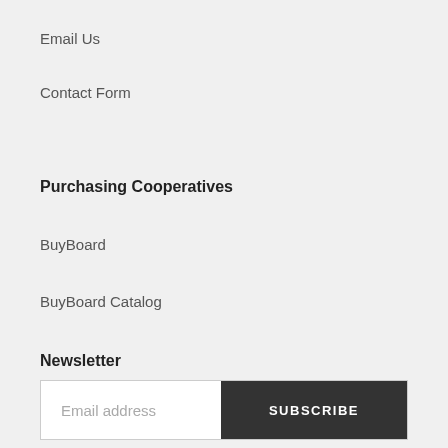Email Us
Contact Form
Purchasing Cooperatives
BuyBoard
BuyBoard Catalog
Newsletter
Email address  SUBSCRIBE